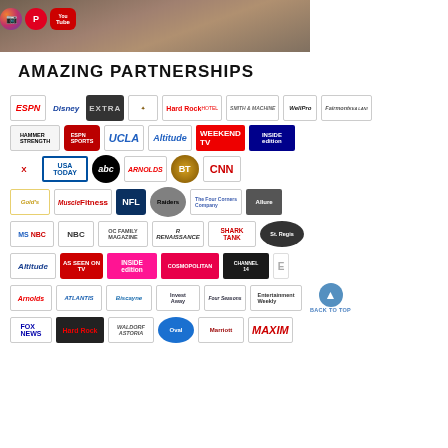[Figure (photo): Top partial photo of woman with social media icons (Instagram, Pinterest, YouTube) overlaid]
AMAZING PARTNERSHIPS
[Figure (infographic): Grid of partner/sponsor logos including ESPN, Disney, EXTRA, Hard Rock, Hammer Strength, UCLA, Altitude, Weekend TV, Inside Edition, USA Today, ABC, CNN, NFL, Muscle Fitness, MSNBC, NBC, OC Family Magazine, Renaissance, Shark Tank, St. Regis, Cosmopolitan, Entertainment Weekly, Fox News, Hard Rock, Waldorf Astoria, Marriott, Maxim and many others]
BACK TO TOP